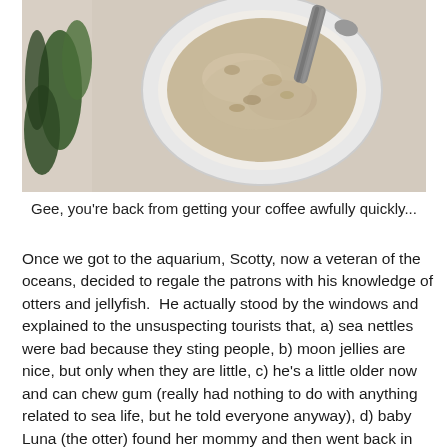[Figure (photo): Photo of a bowl of food (possibly oatmeal or cereal) with a spoon, shot from above on a light surface. A dark green plant or toy is partially visible on the left side.]
Gee, you're back from getting your coffee awfully quickly...
Once we got to the aquarium, Scotty, now a veteran of the oceans, decided to regale the patrons with his knowledge of otters and jellyfish.  He actually stood by the windows and explained to the unsuspecting tourists that, a) sea nettles were bad because they sting people, b) moon jellies are nice, but only when they are little, c) he's a little older now and can chew gum (really had nothing to do with anything related to sea life, but he told everyone anyway), d) baby Luna (the otter) found her mommy and then went back in the ocean and had her whole family and now he's going to be a sea otter doctor, and e) he ate Dada's cinnamon roll.  Despite being packed for the 4th of July, most of the people Scotty imparted his knowledge upon seemed genuinely interested in what he had to say (other than the gum and cinnamon roll stories).  We also got to see the sea horses